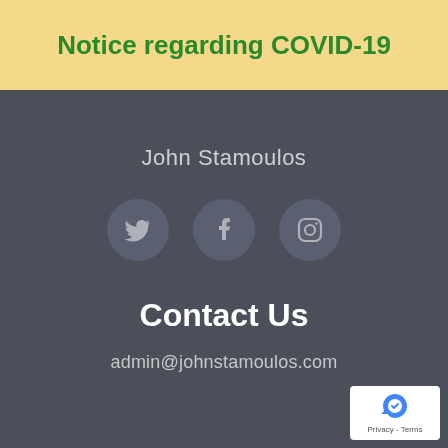Notice regarding COVID-19
John Stamoulos
[Figure (infographic): Three circular social media icons: Twitter bird icon, Facebook 'f' icon, and Instagram camera icon, arranged horizontally on a dark background]
Contact Us
admin@johnstamoulos.com
[Figure (logo): Google reCAPTCHA logo with blue arrow circle icon and text 'Privacy - Terms']